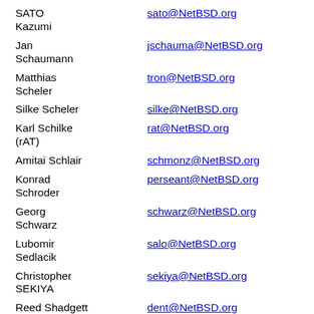SATO Kazumi	sato@NetBSD.org
Jan Schaumann	jschauma@NetBSD.org
Matthias Scheler	tron@NetBSD.org
Silke Scheler	silke@NetBSD.org
Karl Schilke (rAT)	rat@NetBSD.org
Amitai Schlair	schmonz@NetBSD.org
Konrad Schroder	perseant@NetBSD.org
Georg Schwarz	schwarz@NetBSD.org
Lubomir Sedlacik	salo@NetBSD.org
Christopher SEKIYA	sekiya@NetBSD.org
Reed Shadgett	dent@NetBSD.org
John Shannon	shannonjr@NetBSD.org
Tim Shepard	shep@NetBSD.org
Naoto	icu@NetBSD.org